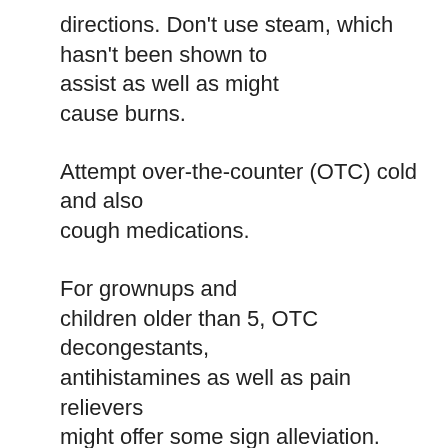directions. Don't use steam, which hasn't been shown to assist as well as might cause burns.
Attempt over-the-counter (OTC) cold and also cough medications.
For grownups and children older than 5, OTC decongestants, antihistamines as well as pain relievers might offer some sign alleviation. However, they will not avoid a cold or reduce its period, and also many have some side effects. Professionals agree that these should not be provided to more youthful children. Overuse and also